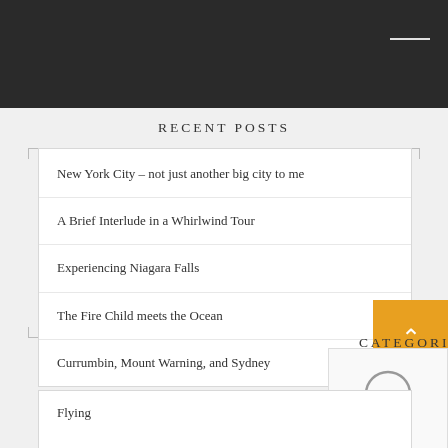RECENT POSTS
New York City – not just another big city to me
A Brief Interlude in a Whirlwind Tour
Experiencing Niagara Falls
The Fire Child meets the Ocean
Currumbin, Mount Warning, and Sydney
CATEGORIES
Flying